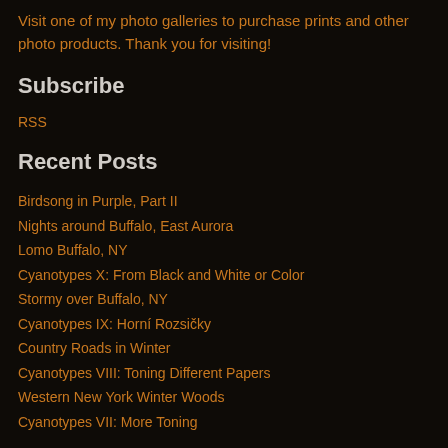Visit one of my photo galleries to purchase prints and other photo products. Thank you for visiting!
Subscribe
RSS
Recent Posts
Birdsong in Purple, Part II
Nights around Buffalo, East Aurora
Lomo Buffalo, NY
Cyanotypes X: From Black and White or Color
Stormy over Buffalo, NY
Cyanotypes IX: Horní Rozsičky
Country Roads in Winter
Cyanotypes VIII: Toning Different Papers
Western New York Winter Woods
Cyanotypes VII: More Toning
Keywords
photography
#etbtsy